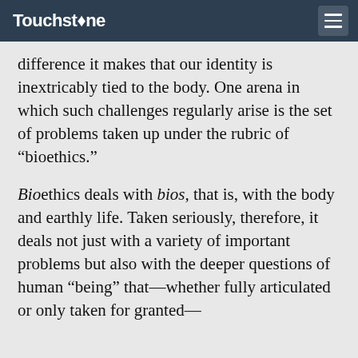Touchstone
difference it makes that our identity is inextricably tied to the body. One arena in which such challenges regularly arise is the set of problems taken up under the rubric of “bioethics.”
Bioethics deals with bios, that is, with the body and earthly life. Taken seriously, therefore, it deals not just with a variety of important problems but also with the deeper questions of human “being” that—whether fully articulated or only taken for granted—